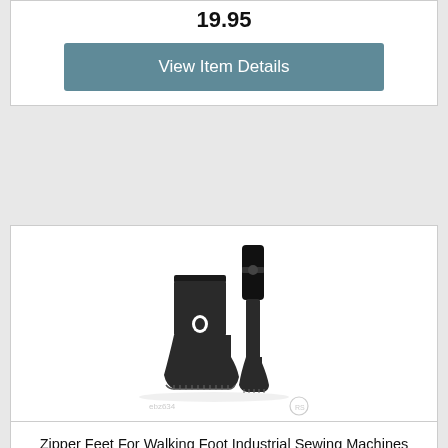19.95
View Item Details
[Figure (photo): Two black metal sewing machine zipper feet for walking foot industrial sewing machines, right side, model numbers 240135 240158. Photographed on white background with watermark 'ebz634'.]
Zipper Feet For Walking Foot Industrial Sewing Machines Right 240135 240158
22.95